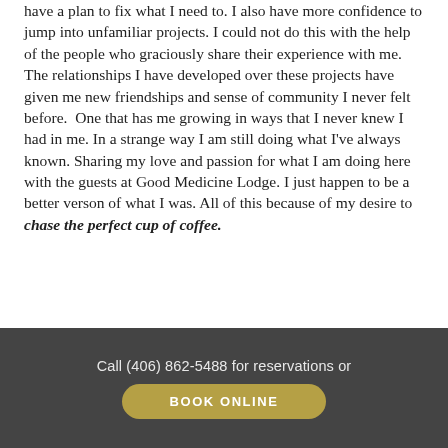have a plan to fix what I need to. I also have more confidence to jump into unfamiliar projects. I could not do this with the help of the people who graciously share their experience with me. The relationships I have developed over these projects have given me new friendships and sense of community I never felt before.  One that has me growing in ways that I never knew I had in me. In a strange way I am still doing what I've always known. Sharing my love and passion for what I am doing here with the guests at Good Medicine Lodge. I just happen to be a better verson of what I was. All of this because of my desire to chase the perfect cup of coffee.
Call (406) 862-5488 for reservations or BOOK ONLINE